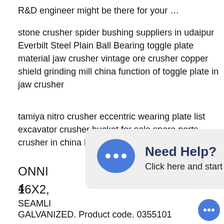R&D engineer might be there for your …
stone crusher spider bushing suppliers in udaipur Everbilt Steel Plain Ball Bearing toggle plate material jaw crusher vintage ore crusher copper shield grinding mill china function of toggle plate in jaw crusher
tamiya nitro crusher eccentric wearing plate list excavator crusher bucket for sale spare parts crusher in china breaker bar alte[r...]
[Figure (screenshot): Chat popup overlay with blue speech bubble icon and text 'Need Help? Click here and start chatting with us!']
ONNIN[...] 05-4 16X2,[...]
SEAMLI[...]
GALVANIZED. Product code. 0355101
stone stone crusher brass p[...] evaporative cooler parts cru[...] a. industry south america allis chalmers hydrocone crusher
[Figure (screenshot): Small chat tooltip: 'Hey, we are live 24/7. How may I help you?' with blue chat button icon]